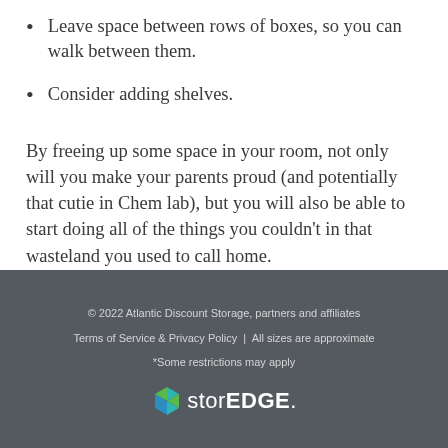Leave space between rows of boxes, so you can walk between them.
Consider adding shelves.
By freeing up some space in your room, not only will you make your parents proud (and potentially that cutie in Chem lab), but you will also be able to start doing all of the things you couldn't in that wasteland you used to call home.
© 2022 Atlantic Discount Storage, partners and affiliates
Terms of Service & Privacy Policy  |  All sizes are approximate
*Some restrictions may apply